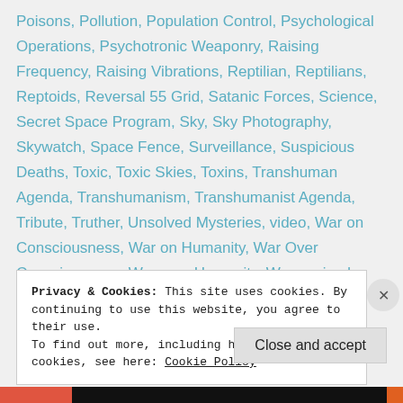Poisons, Pollution, Population Control, Psychological Operations, Psychotronic Weaponry, Raising Frequency, Raising Vibrations, Reptilian, Reptilians, Reptoids, Reversal 55 Grid, Satanic Forces, Science, Secret Space Program, Sky, Sky Photography, Skywatch, Space Fence, Surveillance, Suspicious Deaths, Toxic, Toxic Skies, Toxins, Transhuman Agenda, Transhumanism, Transhumanist Agenda, Tribute, Truther, Unsolved Mysteries, video, War on Consciousness, War on Humanity, War Over Consciousness, War over Humanity, Weaponized Technology, Weaponry, Weather Modification, Whistleblower, Whistleblowers, Whistleblowing...
Privacy & Cookies: This site uses cookies. By continuing to use this website, you agree to their use.
To find out more, including how to control cookies, see here: Cookie Policy
Close and accept